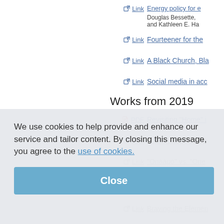Link — Energy policy for e... Douglas Bessette, and Kathleen E. Ha...
Link — Fourteener for the...
Link — A Black Church, Bla...
Link — Social media in acc...
Works from 2019
PDF — Revisiting "Home" i...
Link — The Rhetoric of Tru...
Link — "Onaapo" vs. "One... 2016), G. Edzordzi...
Link — Making IT Work: A K...
Link — Braving the Elemen...
Link — Cultural Studies in i...
We use cookies to help provide and enhance our service and tailor content. By closing this message, you agree to the use of cookies.